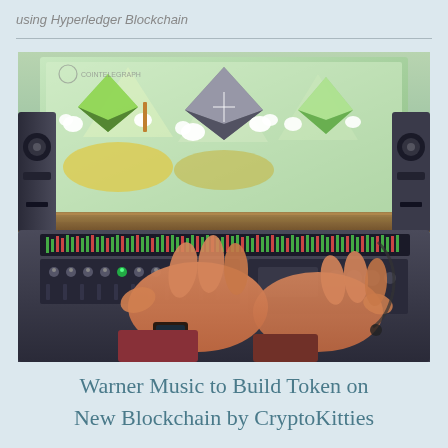using Hyperledger Blockchain
[Figure (illustration): Cointelegraph illustration showing animated Ethereum diamond characters playing music in a recording studio, with hands at a mixing console in the foreground and studio monitor speakers on either side.]
Warner Music to Build Token on New Blockchain by CryptoKitties